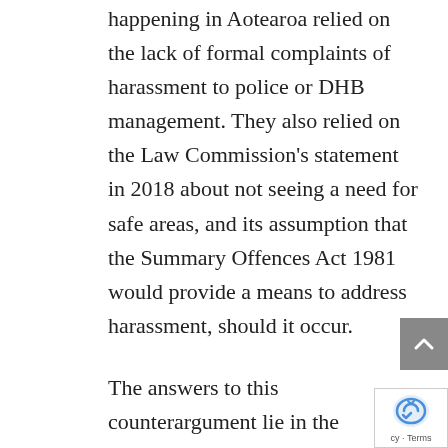happening in Aotearoa relied on the lack of formal complaints of harassment to police or DHB management. They also relied on the Law Commission's statement in 2018 about not seeing a need for safe areas, and its assumption that the Summary Offences Act 1981 would provide a means to address harassment, should it occur.
The answers to this counterargument lie in the evidence provided by submitters during the select committee process. They spoke of their own experiences trying to access abortion care and being chased, surrounded, verbally abused, and having things thrown at them. ALRANZ's submission included firsthand